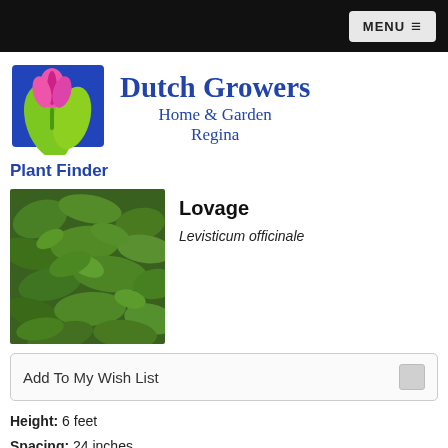MENU
[Figure (logo): Dutch Growers Home & Garden Regina logo with tulip/leaf graphic and brand text]
Plant Finder
[Figure (photo): Photo of Lovage plant with green leaves]
Lovage
Levisticum officinale
Add To My Wish List
Height:  6 feet
Spacing:  24 inches